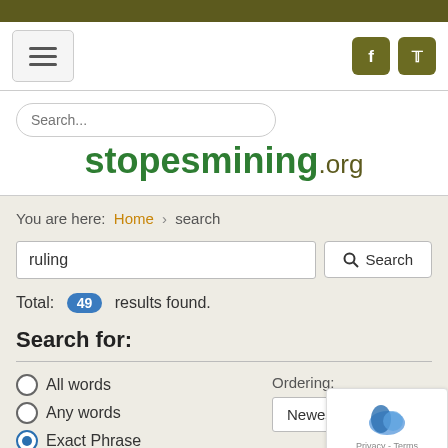[Figure (screenshot): Website header with hamburger menu button on left and Facebook/Twitter social icons on right, dark olive top bar]
stopesmining.org
You are here: Home > search
ruling
Total: 49 results found.
Search for:
All words
Any words
Exact Phrase
Ordering: Newest First